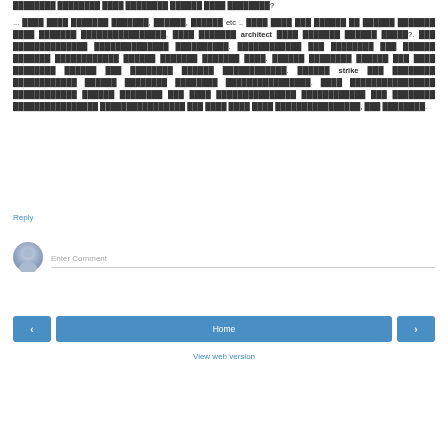... ████ ████ ███████ ███████, ██████, ██████ etc .. ████ ████ ███ ██████ ██ ██████ ███████ ████ ███████ ████████████████. ████ ███████ architect ████ ███████ ██████ █████?. ███ ██████████████ ██████████████ ██████████. ████████████ ███ ████████ ███ ██████ ███████ ████████████ ██████ ███████ ███████ ████. ██████ ████████ ██████ ███ ████ ████████ ██████ ███ ████████ ██████ ████████████. ██████ strike ███ ████████ ████████████ ██████ ████████ ████████ ████████████████. ████ ████████████████ ████████████ ██████ ████████ ███ ████ ███████████████ ████████████ ███ ████████ ████████████████ ████████████████ ███ ████ ████ ████ ████████████████, ███ ████████.
Reply
Enter Comment
Home
View web version